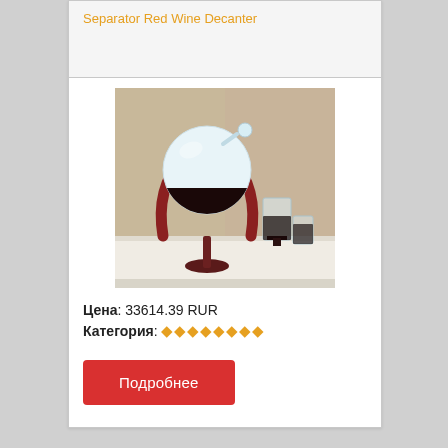Separator Red Wine Decanter
[Figure (photo): Globe-shaped glass red wine decanter on a dark wooden stand, shown on a white tray with two glasses of red wine and a woven background.]
Цена: 33614.39 RUR
Категория: ◆◆◆◆◆◆◆◆
Подробнее